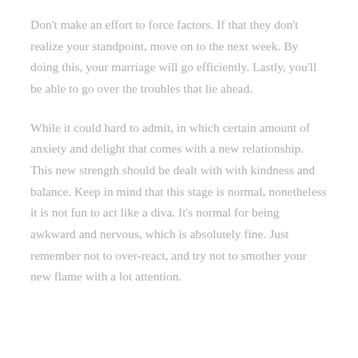Don't make an effort to force factors. If that they don't realize your standpoint, move on to the next week. By doing this, your marriage will go efficiently. Lastly, you'll be able to go over the troubles that lie ahead.
While it could hard to admit, in which certain amount of anxiety and delight that comes with a new relationship. This new strength should be dealt with with kindness and balance. Keep in mind that this stage is normal, nonetheless it is not fun to act like a diva. It's normal for being awkward and nervous, which is absolutely fine. Just remember not to over-react, and try not to smother your new flame with a lot attention.